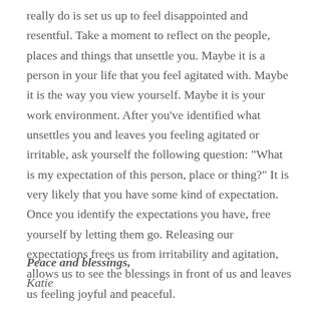really do is set us up to feel disappointed and resentful. Take a moment to reflect on the people, places and things that unsettle you. Maybe it is a person in your life that you feel agitated with. Maybe it is the way you view yourself. Maybe it is your work environment. After you've identified what unsettles you and leaves you feeling agitated or irritable, ask yourself the following question: “What is my expectation of this person, place or thing?” It is very likely that you have some kind of expectation. Once you identify the expectations you have, free yourself by letting them go. Releasing our expectations frees us from irritability and agitation, allows us to see the blessings in front of us and leaves us feeling joyful and peaceful.
Peace and blessings,
Katie